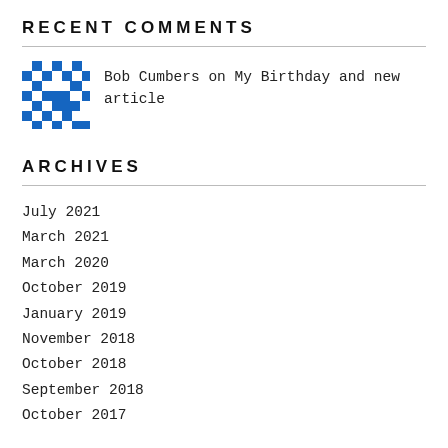RECENT COMMENTS
Bob Cumbers on My Birthday and new article
ARCHIVES
July 2021
March 2021
March 2020
October 2019
January 2019
November 2018
October 2018
September 2018
October 2017